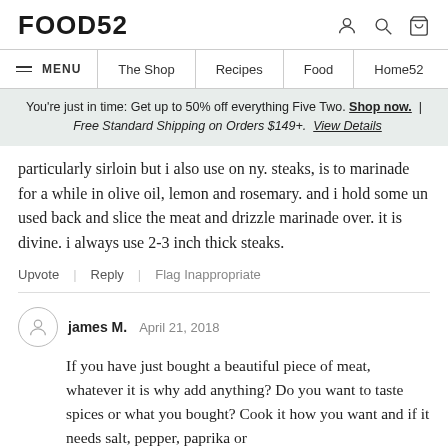FOOD52
You're just in time: Get up to 50% off everything Five Two. Shop now. | Free Standard Shipping on Orders $149+. View Details
particularly sirloin but i also use on ny. steaks, is to marinade for a while in olive oil, lemon and rosemary. and i hold some un used back and slice the meat and drizzle marinade over. it is divine. i always use 2-3 inch thick steaks.
Upvote | Reply | Flag Inappropriate
james M.   April 21, 2018
If you have just bought a beautiful piece of meat, whatever it is why add anything? Do you want to taste spices or what you bought? Cook it how you want and if it needs salt, pepper, paprika or